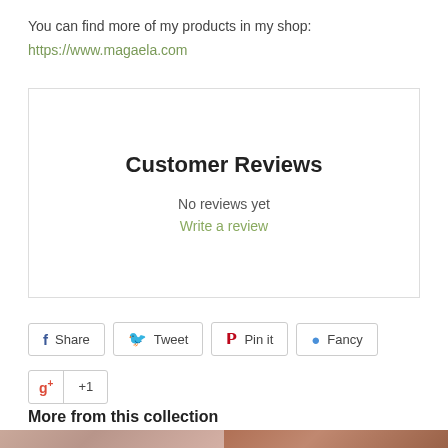You can find more of my products in my shop:
https://www.magaela.com
Customer Reviews
No reviews yet
Write a review
Share
Tweet
Pin it
Fancy
g+ +1
More from this collection
[Figure (photo): Two product thumbnail images side by side at the bottom of the page, showing wood or fabric textures in pinkish-brown tones.]